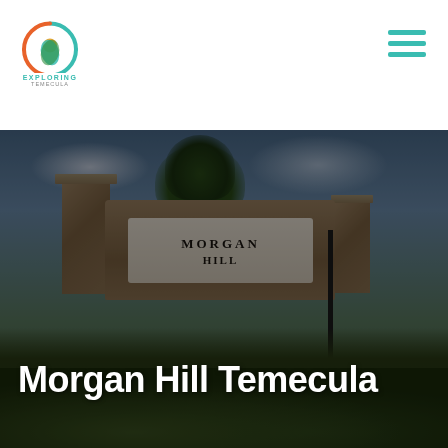Exploring Temecula
[Figure (photo): Entrance sign for Morgan Hill Temecula neighborhood. Stone pillars flank a curved stone wall with an illuminated sign reading 'Morgan Hill'. The scene shows a cloudy blue sky, a large tree behind the sign, and dense shrubs in the foreground. The image has a dark overlay.]
Morgan Hill Temecula